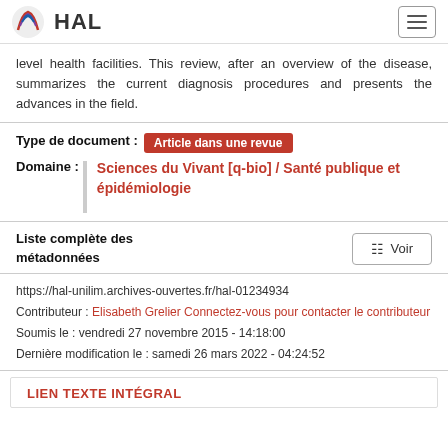HAL
level health facilities. This review, after an overview of the disease, summarizes the current diagnosis procedures and presents the advances in the field.
Type de document : Article dans une revue
Domaine : Sciences du Vivant [q-bio] / Santé publique et épidémiologie
Liste complète des métadonnées  Voir
https://hal-unilim.archives-ouvertes.fr/hal-01234934
Contributeur : Elisabeth Grelier Connectez-vous pour contacter le contributeur
Soumis le : vendredi 27 novembre 2015 - 14:18:00
Dernière modification le : samedi 26 mars 2022 - 04:24:52
LIEN TEXTE INTÉGRAL